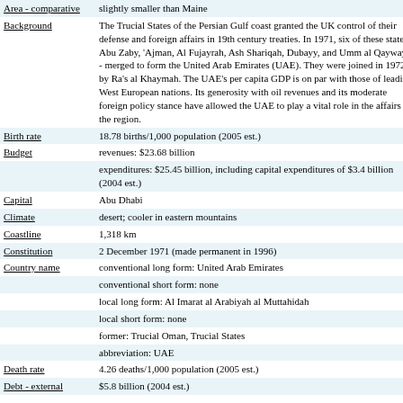| Field | Value |
| --- | --- |
| Area - comparative | slightly smaller than Maine |
| Background | The Trucial States of the Persian Gulf coast granted the UK control of their defense and foreign affairs in 19th century treaties. In 1971, six of these states - Abu Zaby, 'Ajman, Al Fujayrah, Ash Shariqah, Dubayy, and Umm al Qaywayn - merged to form the United Arab Emirates (UAE). They were joined in 1972 by Ra's al Khaymah. The UAE's per capita GDP is on par with those of leading West European nations. Its generosity with oil revenues and its moderate foreign policy stance have allowed the UAE to play a vital role in the affairs of the region. |
| Birth rate | 18.78 births/1,000 population (2005 est.) |
| Budget | revenues: $23.68 billion

expenditures: $25.45 billion, including capital expenditures of $3.4 billion (2004 est.) |
| Capital | Abu Dhabi |
| Climate | desert; cooler in eastern mountains |
| Coastline | 1,318 km |
| Constitution | 2 December 1971 (made permanent in 1996) |
| Country name | conventional long form: United Arab Emirates

conventional short form: none

local long form: Al Imarat al Arabiyah al Muttahidah

local short form: none

former: Trucial Oman, Trucial States

abbreviation: UAE |
| Death rate | 4.26 deaths/1,000 population (2005 est.) |
| Debt - external | $5.8 billion (2004 est.) |